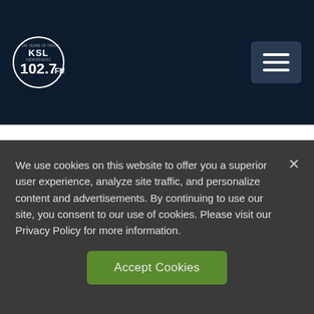KSL NewsRadio 102.7 FM
Utah Sen. Derek Kitchen says party switching partly to blame for primary loss
1 month ago
We use cookies on this website to offer you a superior user experience, analyze site traffic, and personalize content and advertisements. By continuing to use our site, you consent to our use of cookies. Please visit our Privacy Policy for more information.
Accept Cookies